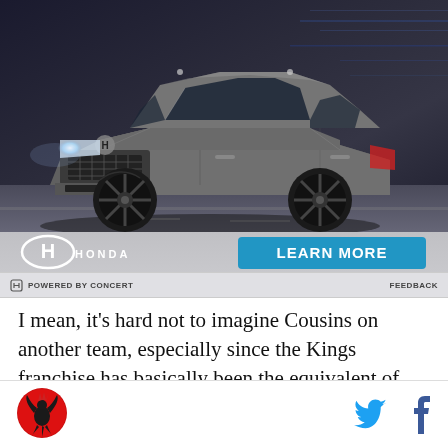[Figure (photo): Honda SUV advertisement showing a gray Honda crossover SUV driving on a road at night with motion blur background, Honda logo and LEARN MORE button overlay]
POWERED BY CONCERT    FEEDBACK
I mean, it's hard not to imagine Cousins on another team, especially since the Kings franchise has basically been the equivalent of taking a Boomerang
[Figure (logo): Sports media logo - red circle with black phoenix/hawk bird icon]
[Figure (logo): Twitter bird icon and Facebook f icon social media links]